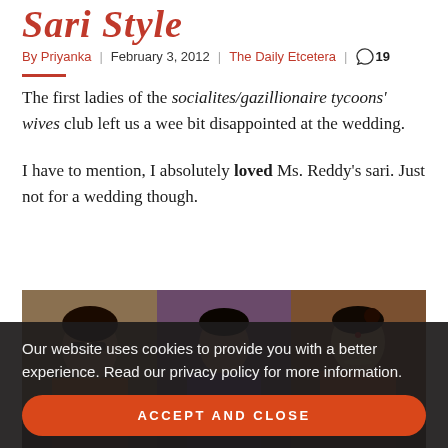Sari Style
By Priyanka | February 3, 2012 | The Daily Etcetera | 19
The first ladies of the socialites/gazillionaire tycoons' wives club left us a wee bit disappointed at the wedding.
I have to mention, I absolutely loved Ms. Reddy's sari. Just not for a wedding though.
[Figure (photo): Three women at a wedding: one in orange, one in purple/blue sari, one in brown/orange sari]
Our website uses cookies to provide you with a better experience. Read our privacy policy for more information.
ACCEPT AND CLOSE